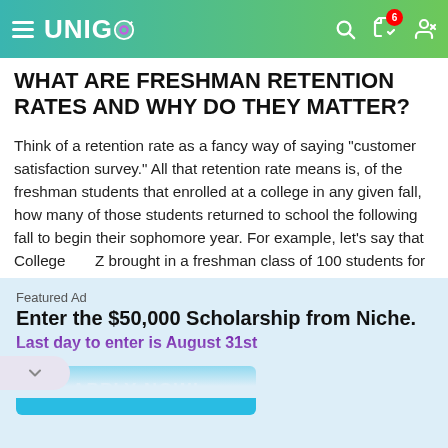UNIGO
WHAT ARE FRESHMAN RETENTION RATES AND WHY DO THEY MATTER?
Think of a retention rate as a fancy way of saying "customer satisfaction survey." All that retention rate means is, of the freshman students that enrolled at a college in any given fall, how many of those students returned to school the following fall to begin their sophomore year. For example, let's say that College Z brought in a freshman class of 100 students for
Featured Ad
Enter the $50,000 Scholarship from Niche.
Last day to enter is August 31st
APPLY NOW!